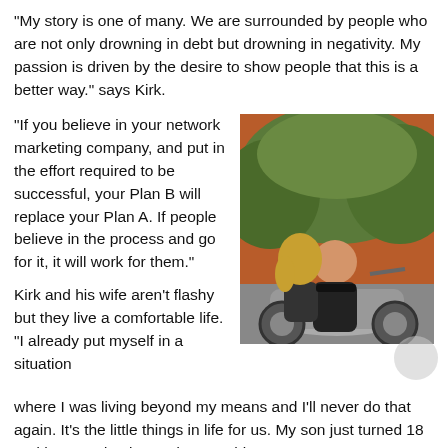“My story is one of many. We are surrounded by people who are not only drowning in debt but drowning in negativity. My passion is driven by the desire to show people that this is a better way.” says Kirk.
“If you believe in your network marketing company, and put in the effort required to be successful, your Plan B will replace your Plan A. If people believe in the process and go for it, it will work for them.”
[Figure (photo): A couple sitting on a motorcycle outdoors; a woman with blonde hair and a man in a dark shirt, with trees in the background.]
Kirk and his wife aren’t flashy but they live a comfortable life. “I already put myself in a situation where I was living beyond my means and I’ll never do that again. It’s the little things in life for us. My son just turned 18 and he’s graduating and we got him a new car.”
“You know, I would never have imagined that before. We have money in the bank. We live a stress free life. We’re just excited about the future. I had no experience in network marketing. It’s humbling to